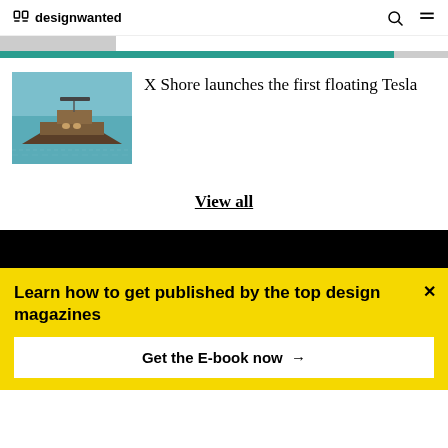designwanted
[Figure (photo): Thumbnail strip and progress bar at top of page]
[Figure (photo): Electric boat on turquoise water — X Shore electric boat]
X Shore launches the first floating Tesla
View all
Learn how to get published by the top design magazines
Get the E-book now →